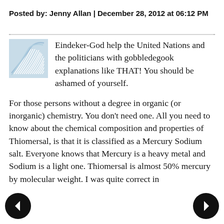Posted by: Jenny Allan | December 28, 2012 at 06:12 PM
[Figure (logo): Blue abstract wave/fan logo icon used as commenter avatar]
Eindeker-God help the United Nations and the politicians with gobbledegook explanations like THAT! You should be ashamed of yourself.

For those persons without a degree in organic (or inorganic) chemistry. You don't need one. All you need to know about the chemical composition and properties of Thiomersal, is that it is classified as a Mercury Sodium salt. Everyone knows that Mercury is a heavy metal and Sodium is a light one. Thiomersal is almost 50% mercury by molecular weight. I was quite correct in